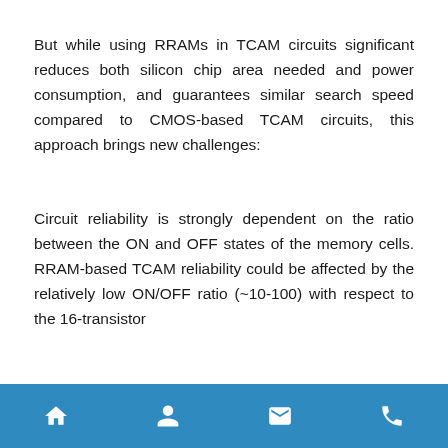But while using RRAMs in TCAM circuits significant reduces both silicon chip area needed and power consumption, and guarantees similar search speed compared to CMOS-based TCAM circuits, this approach brings new challenges:
Circuit reliability is strongly dependent on the ratio between the ON and OFF states of the memory cells. RRAM-based TCAM reliability could be affected by the relatively low ON/OFF ratio (~10-100) with respect to the 16-transistor
[home icon] [person icon] [mail icon] [phone icon]